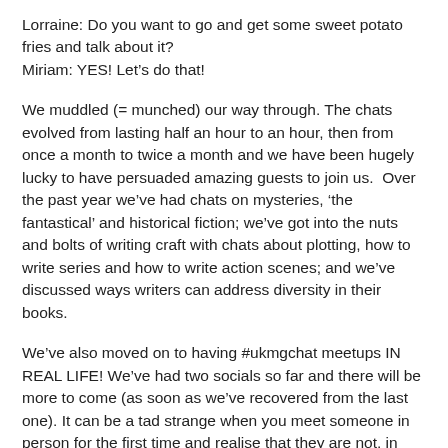Lorraine: Do you want to go and get some sweet potato fries and talk about it?
Miriam: YES! Let’s do that!
We muddled (= munched) our way through. The chats evolved from lasting half an hour to an hour, then from once a month to twice a month and we have been hugely lucky to have persuaded amazing guests to join us.  Over the past year we’ve had chats on mysteries, ‘the fantastical’ and historical fiction; we’ve got into the nuts and bolts of writing craft with chats about plotting, how to write series and how to write action scenes; and we’ve discussed ways writers can address diversity in their books.
We’ve also moved on to having #ukmgchat meetups IN REAL LIFE! We’ve had two socials so far and there will be more to come (as soon as we’ve recovered from the last one). It can be a tad strange when you meet someone in person for the first time and realise that they are not, in fact, twelve years old. But once you get over that, it’s great.
And our planning for #ukmgchat hasn’t changed all that